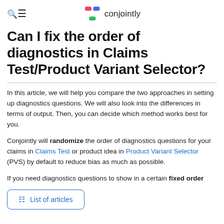Conjointly
Can I fix the order of diagnostics in Claims Test/Product Variant Selector?
In this article, we will help you compare the two approaches in setting up diagnostics questions. We will also look into the differences in terms of output. Then, you can decide which method works best for you.
Conjointly will randomize the order of diagnostics questions for your claims in Claims Test or product idea in Product Variant Selector (PVS) by default to reduce bias as much as possible.
If you need diagnostics questions to show in a certain fixed order
List of articles